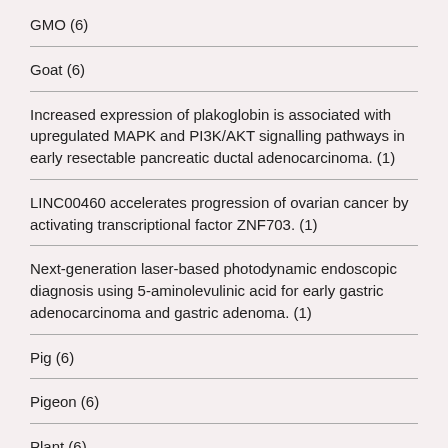GMO (6)
Goat (6)
Increased expression of plakoglobin is associated with upregulated MAPK and PI3K/AKT signalling pathways in early resectable pancreatic ductal adenocarcinoma. (1)
LINC00460 accelerates progression of ovarian cancer by activating transcriptional factor ZNF703. (1)
Next-generation laser-based photodynamic endoscopic diagnosis using 5-aminolevulinic acid for early gastric adenocarcinoma and gastric adenoma. (1)
Pig (6)
Pigeon (6)
Plant (6)